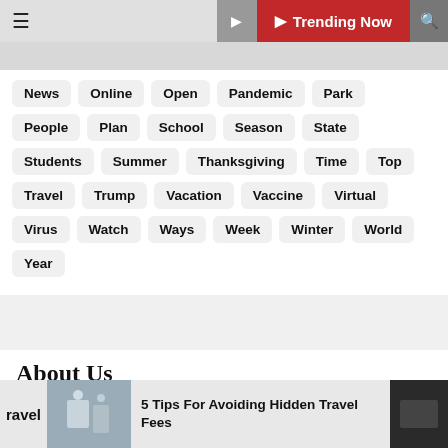Trending Now
News
Online
Open
Pandemic
Park
People
Plan
School
Season
State
Students
Summer
Thanksgiving
Time
Top
Travel
Trump
Vacation
Vaccine
Virtual
Virus
Watch
Ways
Week
Winter
World
Year
About Us
Advertise Here
Contact Us
5 Tips For Avoiding Hidden Travel Fees